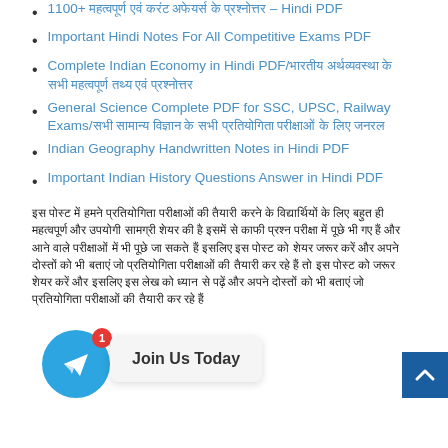1100+ महत्वपूर्ण एवं करंट अफेयर्स के प्रश्नोत्तर – Hindi PDF
Important Hindi Notes For All Competitive Exams PDF
Complete Indian Economy in Hindi PDF/भारतीय अर्थव्यवस्था के सभी महत्वपूर्ण तथ्य एवं प्रश्नोत्तर
General Science Complete PDF for SSC, UPSC, Railway Exams/सभी सामान्य विज्ञान के सभी प्रतियोगिता परीक्षाओं के लिए जनरल
Indian Geography Handwritten Notes in Hindi PDF
Important Indian History Questions Answer in Hindi PDF
इस पोस्ट में हमने प्रतियोगिता परीक्षाओं की तैयारी करने के विद्यार्थियों के लिए बहुत ही महत्वपूर्ण और उपयोगी सामग्री शेयर की है इसमें से काफी प्रश्न परीक्षा में पूछे भी गए हैं और आने वाले परीक्षाओं में भी पूछे जा सकते हैं इसलिए इस पोस्ट को शेयर जरूर करें और अपने दोस्तों को भी बताएं जो प्रतियोगिता परीक्षाओं की तैयारी कर रहे हैं तो इस पोस्ट को जरूर शेयर करें...